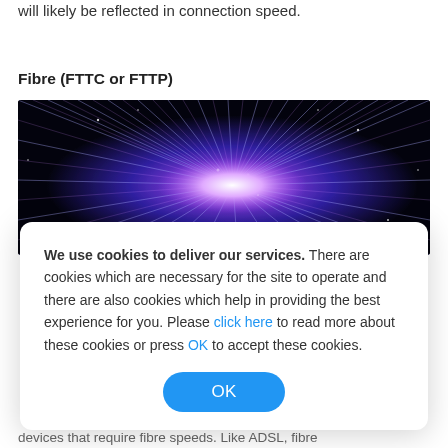will likely be reflected in connection speed.
Fibre (FTTC or FTTP)
[Figure (photo): Close-up photograph of illuminated fibre optic cables glowing in purple, blue, and white light against a dark background.]
We use cookies to deliver our services. There are cookies which are necessary for the site to operate and there are also cookies which help in providing the best experience for you. Please click here to read more about these cookies or press OK to accept these cookies.
devices that require fibre speeds. Like ADSL, fibre